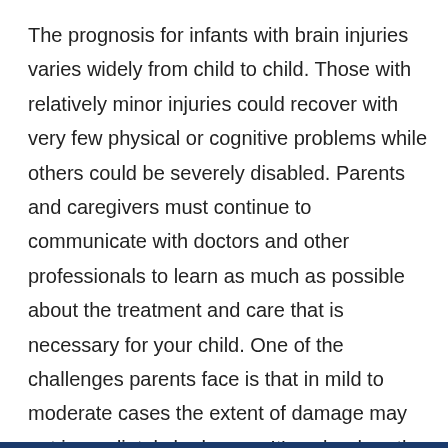The prognosis for infants with brain injuries varies widely from child to child. Those with relatively minor injuries could recover with very few physical or cognitive problems while others could be severely disabled. Parents and caregivers must continue to communicate with doctors and other professionals to learn as much as possible about the treatment and care that is necessary for your child. One of the challenges parents face is that in mild to moderate cases the extent of damage may not immediately be known. It's only when the child begins to miss important milestones that a more accurate prognosis can be made.